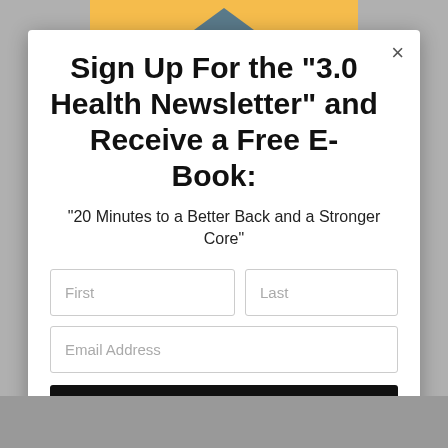[Figure (illustration): Illustration of hands holding a house icon with orange/yellow and blue-gray colors, partially visible at top of page]
Sign Up For the "3.0 Health Newsletter" and Receive a Free E-Book:
"20 Minutes to a Better Back and a Stronger Core"
First | Last | Email Address | Subscribe